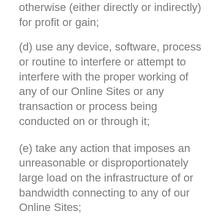otherwise (either directly or indirectly) for profit or gain;
(d) use any device, software, process or routine to interfere or attempt to interfere with the proper working of any of our Online Sites or any transaction or process being conducted on or through it;
(e) take any action that imposes an unreasonable or disproportionately large load on the infrastructure of or bandwidth connecting to any of our Online Sites;
(f) reverse engineer, reverse assemble, decompile or otherwise attempt to discover source code or other arithmetical formula or